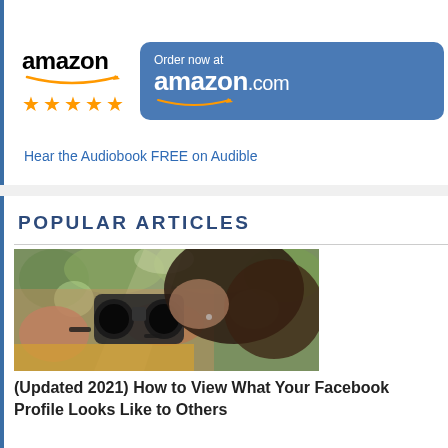[Figure (screenshot): Cropped top portion of a website screenshot showing partial header/banner image]
[Figure (screenshot): Amazon advertisement showing Amazon logo with 5 orange stars on the left and a blue rounded button with 'Order now at amazon.com' text and Amazon smile logo on the right]
Hear the Audiobook FREE on Audible
POPULAR ARTICLES
[Figure (photo): Photo of a woman holding binoculars up to her face, outdoors with trees in background, wearing a yellow outfit and bracelets]
(Updated 2021) How to View What Your Facebook Profile Looks Like to Others